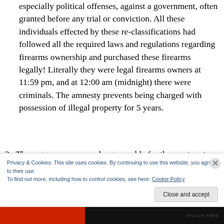especially political offenses, against a government, often granted before any trial or conviction. All these individuals effected by these re-classifications had followed all the required laws and regulations regarding firearms ownership and purchased these firearms legally! Literally they were legal firearms owners at 11:59 pm, and at 12:00 am (midnight) there were criminals. The amnesty prevents being charged with possession of illegal property for 5 years.
3. These guns are now no longer usable for the most part. They can no longer be taken to the range or to
Privacy & Cookies: This site uses cookies. By continuing to use this website, you agree to their use.
To find out more, including how to control cookies, see here: Cookie Policy
Close and accept